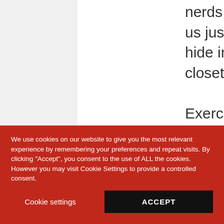nerds amongst us just want to hide in the closet. " Exercise is not an efficient way of burning calories; it is just better
We use cookies on our website to give you the most relevant experience by remembering your preferences and repeat visits. By clicking "Accept", you consent to the use of ALL the cookies. However you may visit Cookie Settings to provide a controlled consent.
Cookie settings
ACCEPT